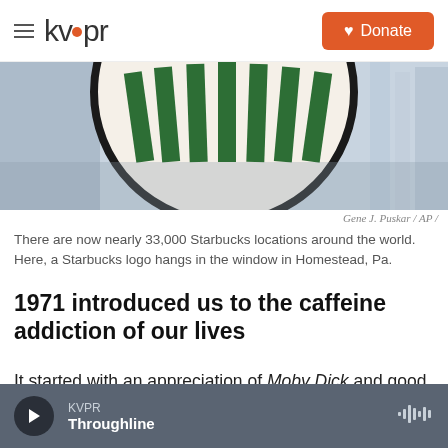kvpr  Donate
[Figure (photo): Starbucks sign with green and white stripes, partial view of a circular logo mounted in a window, with blue sky and buildings visible in background]
Gene J. Puskar / AP /
There are now nearly 33,000 Starbucks locations around the world. Here, a Starbucks logo hangs in the window in Homestead, Pa.
1971 introduced us to the caffeine addiction of our lives
It started with an appreciation of Moby Dick and good coffee. Founded by Jerry Baldwin, Gordon Bowker and Zev Siegl, Starbucks opened its very
KVPR  Throughline